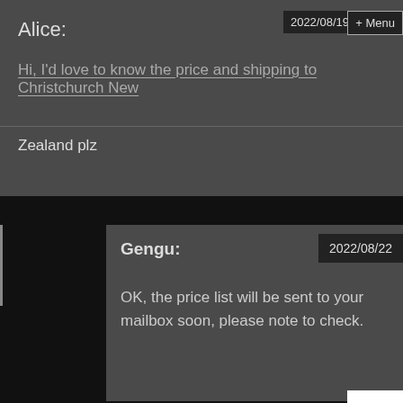Alice:
2022/08/19
Menu
Hi, I'd love to know the price and shipping to Christchurch New Zealand plz
Gengu:
2022/08/22
OK, the price list will be sent to your mailbox soon, please note to check.
Judy:
2022/08
quote for pink pigs please